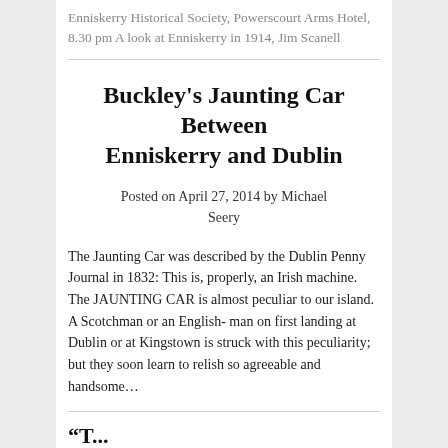Enniskerry Historical Society, Powerscourt Arms Hotel, 8.30 pm A look at Enniskerry in 1914, Jim Scanell
Buckley's Jaunting Car Between Enniskerry and Dublin
Posted on April 27, 2014 by Michael Seery
The Jaunting Car was described by the Dublin Penny Journal in 1832: This is, properly, an Irish machine. The JAUNTING CAR is almost peculiar to our island. A Scotchman or an English- man on first landing at Dublin or at Kingstown is struck with this peculiarity; but they soon learn to relish so agreeable and handsome...